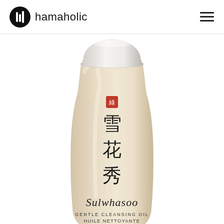hamaholic
[Figure (photo): Sulwhasoo Gentle Cleansing Oil bottle product photo. A tall, rounded bottle with cream/beige coloring, white cap with rose-gold trim ring. Features red seal stamp, Chinese characters (雪花秀), 'Sulwhasoo' brand name, and text 'GENTLE CLEANSING OIL / HUILE NETTOYANTE DOUCEUR' on the label.]